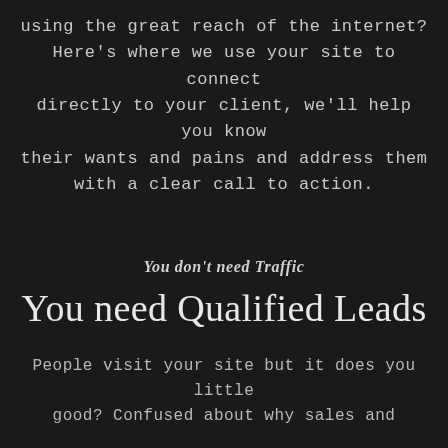using the great reach of the internet? Here's where we use your site to connect directly to your client, we'll help you know their wants and pains and address them with a clear call to action.
You don't need Traffic
You need Qualified Leads
People visit your site but it does you little good? Confused about why sales and